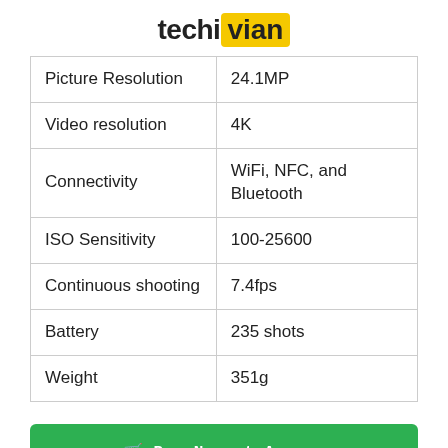techivian
| Picture Resolution | 24.1MP |
| Video resolution | 4K |
| Connectivity | WiFi, NFC, and Bluetooth |
| ISO Sensitivity | 100-25600 |
| Continuous shooting | 7.4fps |
| Battery | 235 shots |
| Weight | 351g |
🛒 Buy Now at Amazon